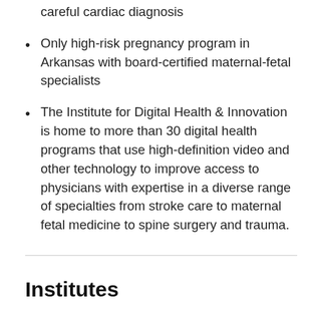careful cardiac diagnosis
Only high-risk pregnancy program in Arkansas with board-certified maternal-fetal specialists
The Institute for Digital Health & Innovation is home to more than 30 digital health programs that use high-definition video and other technology to improve access to physicians with expertise in a diverse range of specialties from stroke care to maternal fetal medicine to spine surgery and trauma.
Institutes